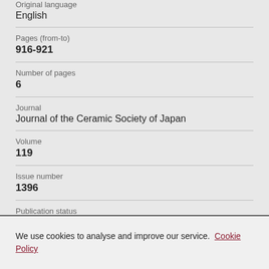Original language
English
Pages (from-to)
916-921
Number of pages
6
Journal
Journal of the Ceramic Society of Japan
Volume
119
Issue number
1396
Publication status
We use cookies to analyse and improve our service. Cookie Policy